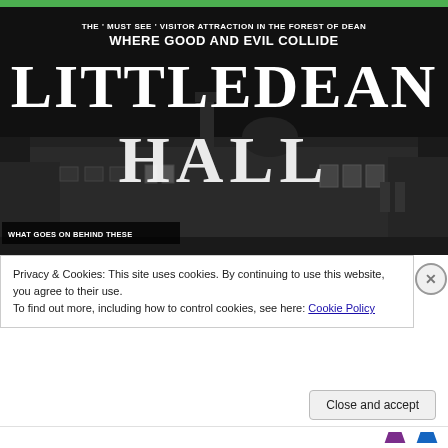[Figure (photo): Black and white promotional banner for Littledean Hall visitor attraction in the Forest of Dean. Text reads 'THE MUST SEE VISITOR ATTRACTION IN THE FOREST OF DEAN', 'WHERE GOOD AND EVIL COLLIDE', 'LITTLEDEAN', 'HALL' with a historic building photograph behind the text. Bottom left has a label reading 'WHAT GOES ON BEHIND THESE'.]
Privacy & Cookies: This site uses cookies. By continuing to use this website, you agree to their use.
To find out more, including how to control cookies, see here: Cookie Policy
Close and accept